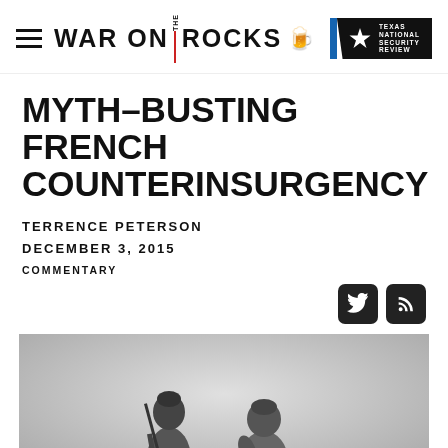WAR ON THE ROCKS
MYTH-BUSTING FRENCH COUNTERINSURGENCY
TERRENCE PETERSON
DECEMBER 3, 2015
COMMENTARY
[Figure (photo): Black and white photograph of two soldiers in cold weather gear, one holding what appears to be a rifle, standing against a light background.]